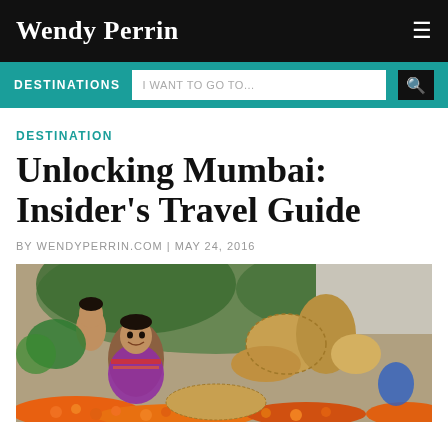Wendy Perrin
DESTINATIONS
DESTINATION
Unlocking Mumbai: Insider's Travel Guide
BY WENDYPERRIN.COM | MAY 24, 2016
[Figure (photo): A woman and child at an outdoor market stall with baskets, flowers, and goods, in Mumbai India.]